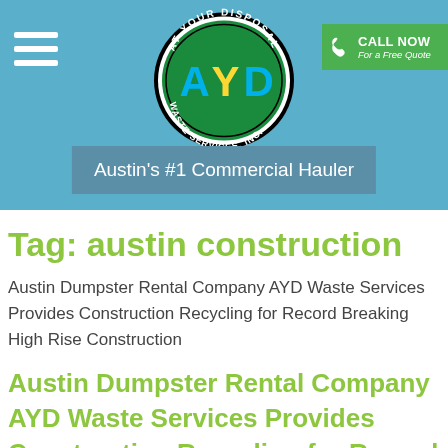[Figure (logo): AYD At Your Disposal Waste Services Inc. oval logo with green background and blue AYD letters]
CALL NOW For a Free Quote
Austin's #1 Commercial Hauler
Tag: austin construction
Austin Dumpster Rental Company AYD Waste Services Provides Construction Recycling for Record Breaking High Rise Construction
Austin Dumpster Rental Company AYD Waste Services Provides Construction Recycling for Record Breaking High Rise